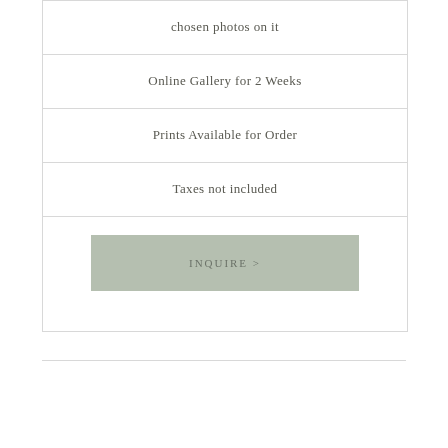chosen photos on it
Online Gallery for 2 Weeks
Prints Available for Order
Taxes not included
INQUIRE >